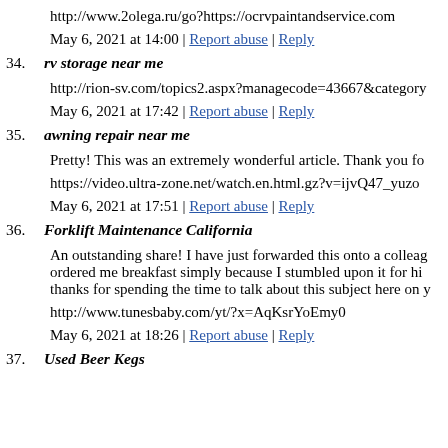http://www.2olega.ru/go?https://ocrvpaintandservice.com
May 6, 2021 at 14:00 | Report abuse | Reply
34. rv storage near me
http://rion-sv.com/topics2.aspx?managecode=43667&category
May 6, 2021 at 17:42 | Report abuse | Reply
35. awning repair near me
Pretty! This was an extremely wonderful article. Thank you fo
https://video.ultra-zone.net/watch.en.html.gz?v=ijvQ47_yuzo
May 6, 2021 at 17:51 | Report abuse | Reply
36. Forklift Maintenance California
An outstanding share! I have just forwarded this onto a colleague who had been ordered me breakfast simply because I stumbled upon it for him... thanks for spending the time to talk about this subject here on y
http://www.tunesbaby.com/yt/?x=AqKsrYoEmy0
May 6, 2021 at 18:26 | Report abuse | Reply
37. Used Beer Kegs